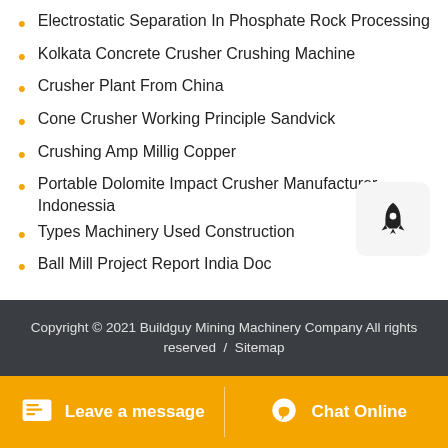Electrostatic Separation In Phosphate Rock Processing
Kolkata Concrete Crusher Crushing Machine
Crusher Plant From China
Cone Crusher Working Principle Sandvick
Crushing Amp Millig Copper
Portable Dolomite Impact Crusher Manufacturer Indonessia
Types Machinery Used Construction
Ball Mill Project Report India Doc
Copyright © 2021 Buildguy Mining Machinery Company All rights reserved  /  Sitemap
Leave a message   Chat Online